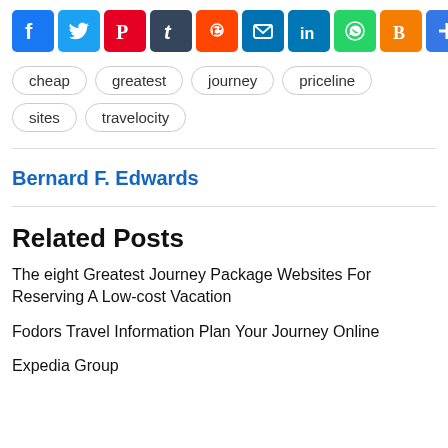[Figure (infographic): Row of social media sharing icons: Facebook, Twitter, Pinterest, Tumblr, Reddit, Email, LinkedIn, WhatsApp, Blogger, Plus/Share]
cheap
greatest
journey
priceline
sites
travelocity
Bernard F. Edwards
Related Posts
The eight Greatest Journey Package Websites For Reserving A Low-cost Vacation
Fodors Travel Information Plan Your Journey Online
Expedia Group